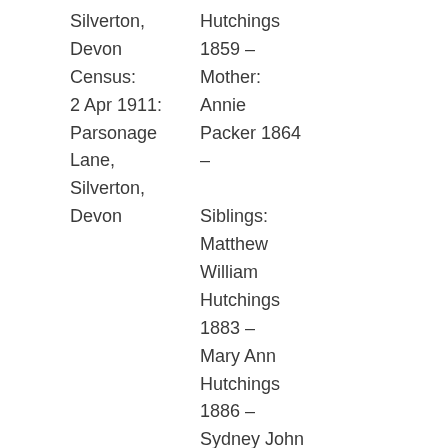Silverton, Devon Census: 2 Apr 1911: Parsonage Lane, Silverton, Devon
Hutchings 1859 – Mother: Annie Packer 1864 – Siblings: Matthew William Hutchings 1883 – Mary Ann Hutchings 1886 – Sydney John Hutchings 1890 – Beatrice